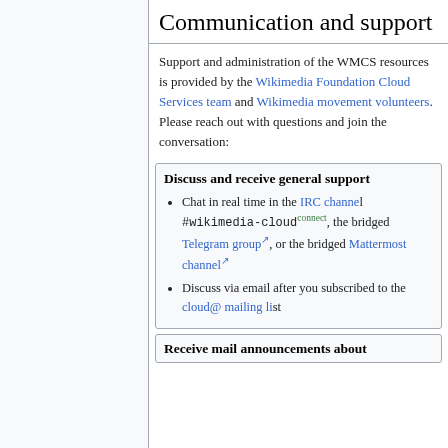Communication and support
Support and administration of the WMCS resources is provided by the Wikimedia Foundation Cloud Services team and Wikimedia movement volunteers. Please reach out with questions and join the conversation:
Discuss and receive general support
Chat in real time in the IRC channel #wikimedia-cloud connect, the bridged Telegram group, or the bridged Mattermost channel
Discuss via email after you subscribed to the cloud@ mailing list
Receive mail announcements about